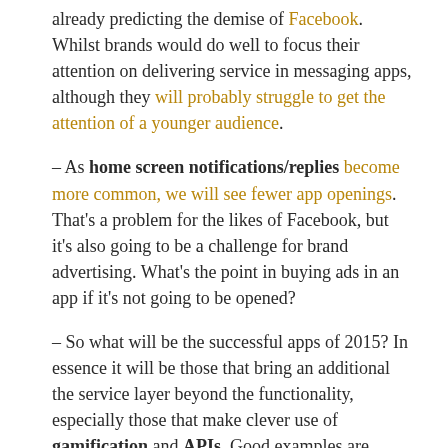already predicting the demise of Facebook. Whilst brands would do well to focus their attention on delivering service in messaging apps, although they will probably struggle to get the attention of a younger audience.
– As home screen notifications/replies become more common, we will see fewer app openings. That's a problem for the likes of Facebook, but it's also going to be a challenge for brand advertising. What's the point in buying ads in an app if it's not going to be opened?
– So what will be the successful apps of 2015? In essence it will be those that bring an additional the service layer beyond the functionality, especially those that make clever use of gamification and APIs. Good examples are Duolingo or City Mapper.